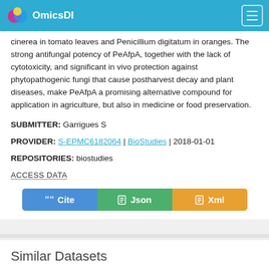OmicsDI
cinerea in tomato leaves and Penicillium digitatum in oranges. The strong antifungal potency of PeAfpA, together with the lack of cytotoxicity, and significant in vivo protection against phytopathogenic fungi that cause postharvest decay and plant diseases, make PeAfpA a promising alternative compound for application in agriculture, but also in medicine or food preservation.
SUBMITTER: Garrigues S
PROVIDER: S-EPMC6182064 | BioStudies | 2018-01-01
REPOSITORIES: biostudies
ACCESS DATA
[Figure (other): Three buttons: Cite (blue), Json (green), Xml (orange)]
Similar Datasets